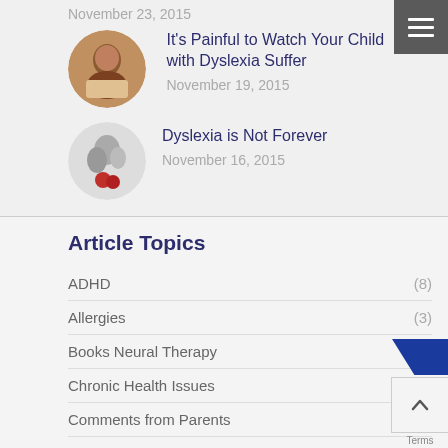November 23, 2015
[Figure (photo): Circular thumbnail of a child sitting at a desk, reading or writing]
It's Painful to Watch Your Child with Dyslexia Suffer
November 19, 2015
[Figure (photo): Circular black and white thumbnail of a person with flowers]
Dyslexia is Not Forever
November 16, 2015
Article Topics
ADHD (8)
Allergies (3)
Books Neural Therapy (21)
Chronic Health Issues (3)
Comments from Parents (3)
Dyslexia (26)